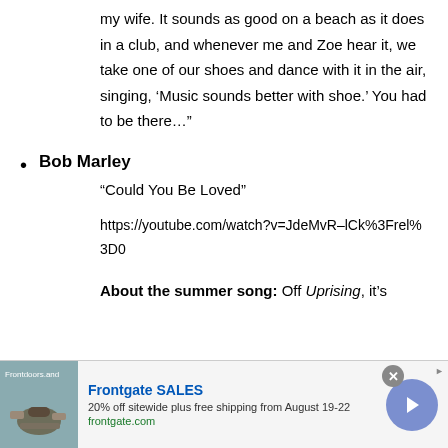my wife. It sounds as good on a beach as it does in a club, and whenever me and Zoe hear it, we take one of our shoes and dance with it in the air, singing, ‘Music sounds better with shoe.’ You had to be there…”
Bob Marley
“Could You Be Loved”
https://youtube.com/watch?v=JdeMvR–lCk%3Frel%3D0
About the summer song: Off Uprising, it’s
[Figure (other): Advertisement banner for Frontgate SALES: 20% off sitewide plus free shipping from August 19-22. Shows outdoor furniture image, Frontgate SALES title in blue, description text, frontgate.com URL in green, close button, and arrow button.]